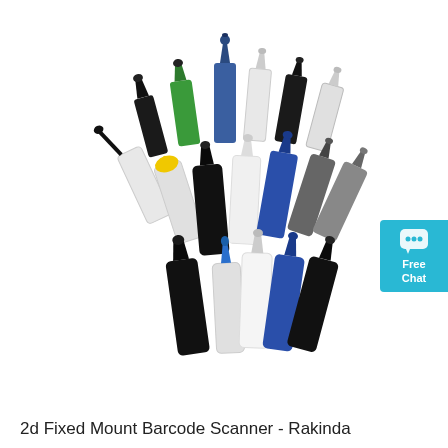[Figure (photo): Multiple plastic squeeze/dropper bottles of various colors (black, white, green, blue, grey, yellow cap) arranged in a circular arc formation on a white background. The bottles have pointed nozzle caps and varying sizes.]
2d Fixed Mount Barcode Scanner - Rakinda